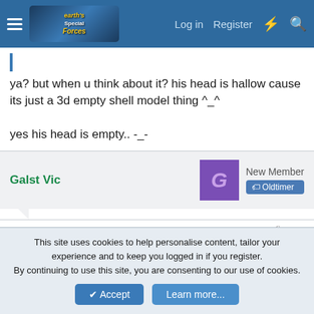Earth's Special Forces forum header — Log in, Register, search
ya? but when u think about it? his head is hallow cause its just a 3d empty shell model thing ^_^

yes his head is empty.. -_-
Galst Vic — New Member — Oldtimer
Mar 9, 2003  #12
Ummm
<TABLE style=filter:glow(color=royalblue, strength=#+1)>I dont
This site uses cookies to help personalise content, tailor your experience and to keep you logged in if you register.
By continuing to use this site, you are consenting to our use of cookies.
Accept  Learn more...